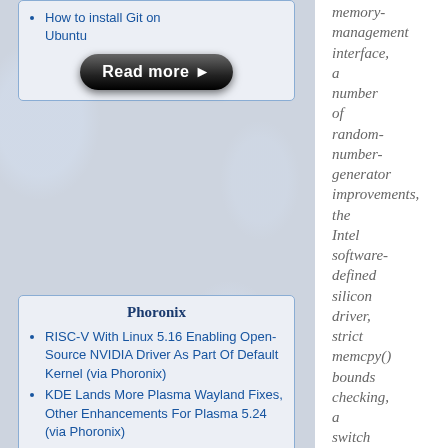How to install Git on Ubuntu
[Figure (other): Read more button — black rounded rectangle with white bold text 'Read more' and right-pointing arrow]
Phoronix
RISC-V With Linux 5.16 Enabling Open-Source NVIDIA Driver As Part Of Default Kernel (via Phoronix)
KDE Lands More Plasma Wayland Fixes, Other Enhancements For Plasma 5.24 (via Phoronix)
Valve Shares New Steam Deck Details, Proton Update Available For Testing (via Phoronix)
Intel Posts Linux Graphics Driver Patches For Raptor
memory-management interface, a number of random-number-generator improvements, the Intel software-defined silicon driver, strict memcpy() bounds checking, a switch to the